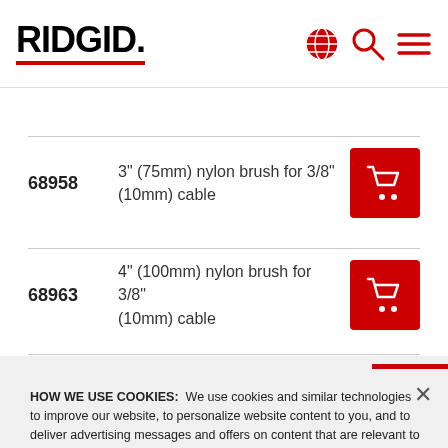RIDGID
68958   3" (75mm) nylon brush for 3/8" (10mm) cable
68963   4" (100mm) nylon brush for 3/8" (10mm) cable
HOW WE USE COOKIES:  We use cookies and similar technologies to improve our website, to personalize website content to you, and to deliver advertising messages and offers on content that are relevant to you. For more specific information on how we use cookies and to change your cookie preferences, see our Cookie Notice. Understand and don't want to see this message again? Click the X to close this notice.